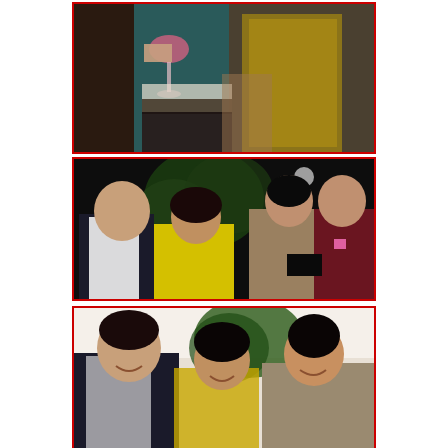[Figure (photo): Close-up of two people at a party/event; one person holds up a pink wine glass, the other wears a gold/silver sequined top]
[Figure (photo): Group of four people posing at a nighttime outdoor event; man in white shirt on left, woman in yellow outfit in center-left, woman in taupe top center-right, man in dark jacket on right, with greenery in background]
[Figure (photo): Three people posing indoors; man in dark suit on left, woman with dark bob haircut in center wearing yellow, woman with straight dark hair on right in sleeveless top]